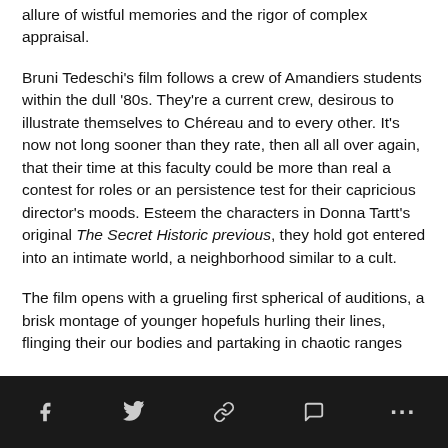allure of wistful memories and the rigor of complex appraisal.
Bruni Tedeschi's film follows a crew of Amandiers students within the dull '80s. They're a current crew, desirous to illustrate themselves to Chéreau and to every other. It's now not long sooner than they rate, then all all over again, that their time at this faculty could be more than real a contest for roles or an persistence test for their capricious director's moods. Esteem the characters in Donna Tartt's original The Secret Historic previous, they hold got entered into an intimate world, a neighborhood similar to a cult.
The film opens with a grueling first spherical of auditions, a brisk montage of younger hopefuls hurling their lines, flinging their our bodies and partaking in chaotic ranges
Social share icons: Facebook, Twitter, Link, Comment, More